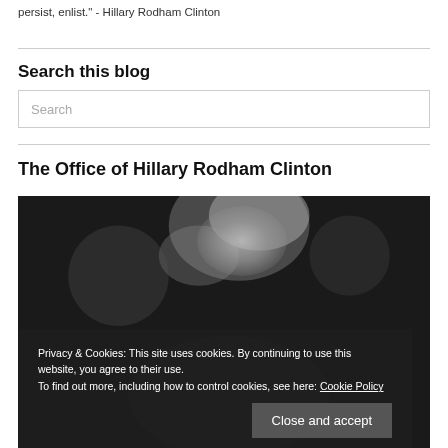persist, enlist." - Hillary Rodham Clinton
Search this blog
Search
The Office of Hillary Rodham Clinton
[Figure (photo): Black and white photograph of Hillary Rodham Clinton with hair visible, crowd in background]
Privacy & Cookies: This site uses cookies. By continuing to use this website, you agree to their use. To find out more, including how to control cookies, see here: Cookie Policy
Close and accept